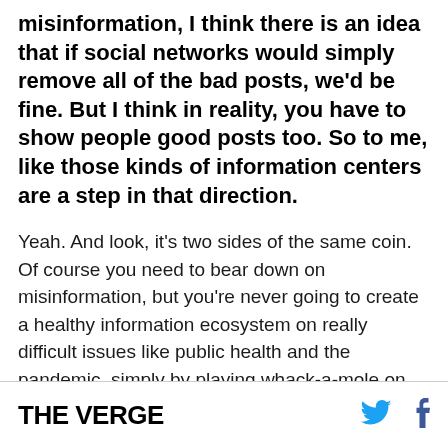misinformation, I think there is an idea that if social networks would simply remove all of the bad posts, we'd be fine. But I think in reality, you have to show people good posts too. So to me, like those kinds of information centers are a step in that direction.
Yeah. And look, it's two sides of the same coin. Of course you need to bear down on misinformation, but you're never going to create a healthy information ecosystem on really difficult issues like public health and the pandemic, simply by playing whack-a-mole on misinformation.
THE VERGE